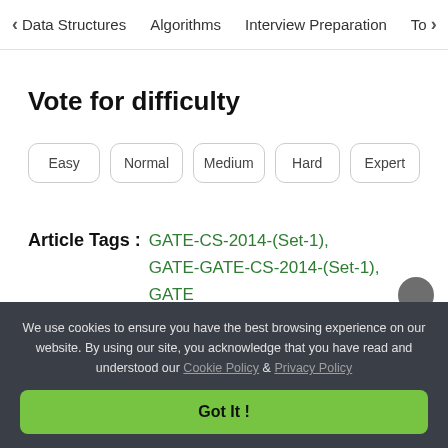< Data Structures   Algorithms   Interview Preparation   To>
Vote for difficulty
Easy
Normal
Medium
Hard
Expert
Article Tags :   GATE-CS-2014-(Set-1),  GATE-GATE-CS-2014-(Set-1),   GATE
We use cookies to ensure you have the best browsing experience on our website. By using our site, you acknowledge that you have read and understood our Cookie Policy & Privacy Policy
Got It !